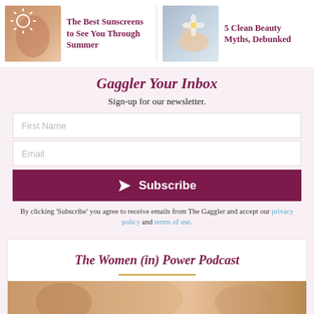[Figure (photo): Thumbnail image of a person's back with a sun symbol, representing sunscreen article]
The Best Sunscreens to See You Through Summer
[Figure (photo): Thumbnail image of hands holding a flower, representing clean beauty article]
5 Clean Beauty Myths, Debunked
Gaggler Your Inbox
Sign-up for our newsletter.
First Name
Email
Subscribe
By clicking ‘Subscribe’ you agree to receive emails from The Gaggler and accept our privacy policy and terms of use.
The Women (in) Power Podcast
[Figure (photo): Partial image strip at the bottom of the podcast section]